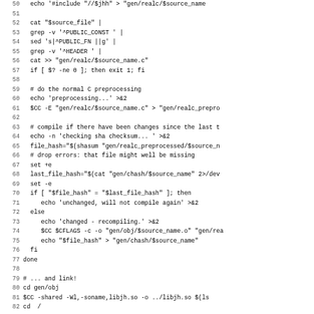[Figure (screenshot): Source code listing (shell script) showing lines 50-82, with line numbers on the left and monospace code on the right. Content includes cat, grep, sed commands piped together, C preprocessing steps, SHA checksum comparison, conditional compilation, and linking steps.]